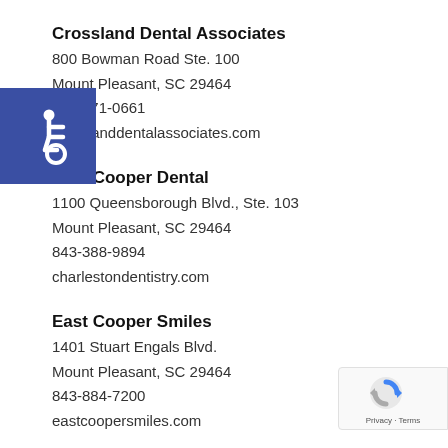Crossland Dental Associates
800 Bowman Road Ste. 100
Mount Pleasant, SC 29464
843-971-0661
crosslanddentalassociates.com
[Figure (illustration): Blue square accessibility wheelchair icon in the top-left area]
East Cooper Dental
1100 Queensborough Blvd., Ste. 103
Mount Pleasant, SC 29464
843-388-9894
charlestondentistry.com
East Cooper Smiles
1401 Stuart Engals Blvd.
Mount Pleasant, SC 29464
843-884-7200
eastcoopersmiles.com
[Figure (logo): Google reCAPTCHA badge in bottom right corner with Privacy and Terms links]